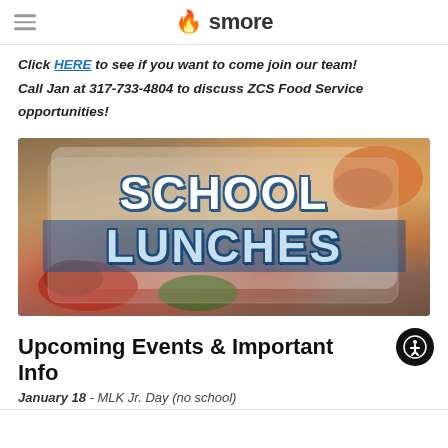smore
Click HERE to see if you want to come join our team! Call Jan at 317-733-4804 to discuss ZCS Food Service opportunities!
[Figure (photo): School lunch tray with vegetables and compartments, overlaid with bold text reading SCHOOL LUNCHES]
Upcoming Events & Important Info
January 18 - MLK Jr. Day (no school)